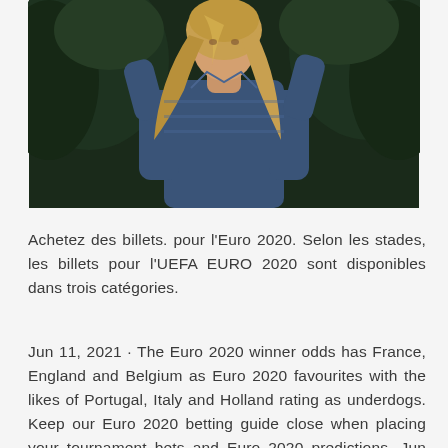[Figure (photo): A woman with long blonde hair wearing a denim jacket, photographed outdoors in front of dark green pine/fir trees. The image is cropped from the waist up.]
Achetez des billets. pour l'Euro 2020. Selon les stades, les billets pour l'UEFA EURO 2020 sont disponibles dans trois catégories.
Jun 11, 2021 · The Euro 2020 winner odds has France, England and Belgium as Euro 2020 favourites with the likes of Portugal, Italy and Holland rating as underdogs. Keep our Euro 2020 betting guide close when placing your tournament bets and Euro 2020 predictions. Jun 10, 2021 · France forward Karim Benzema, who sustained a knee injury during a friendly on Tuesday, is